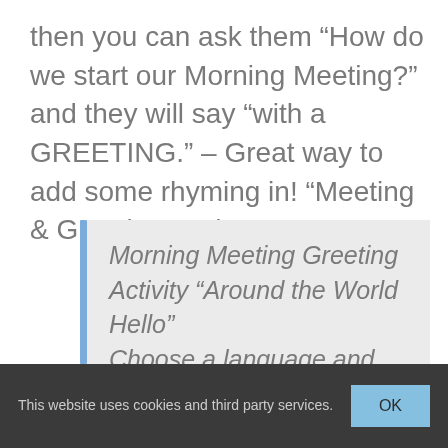then you can ask them “How do we start our Morning Meeting?” and they will say “with a GREETING.” – Great way to add some rhyming in! “Meeting & Greeting – Rhyme!”
Morning Meeting Greeting Activity “Around the World Hello” Choose a language and learn how to say hello in that language. Teach it to your
This website uses cookies and third party services.